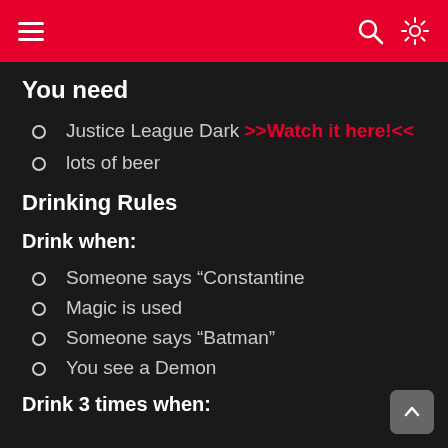Navigation bar with hamburger menu, search icon, and sun/brightness icon
You need
Justice League Dark >>Watch it here!<<
lots of beer
Drinking Rules
Drink when:
Someone says “Constantine
Magic is used
Someone says “Batman”
You see a Demon
Drink 3 times when: